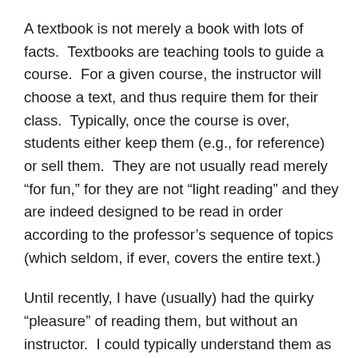A textbook is not merely a book with lots of facts.  Textbooks are teaching tools to guide a course.  For a given course, the instructor will choose a text, and thus require them for their class.  Typically, once the course is over, students either keep them (e.g., for reference) or sell them.  They are not usually read merely “for fun,” for they are not “light reading” and they are indeed designed to be read in order according to the professor’s sequence of topics (which seldom, if ever, covers the entire text.)
Until recently, I have (usually) had the quirky “pleasure” of reading them, but without an instructor.  I could typically understand them as written, but for anyone to get the full meaning of the text, you’ll need a professor.  Typically they are sold or discarded after finishing a course.  And even if you buy a used textbook recently, you’ll likely get the same